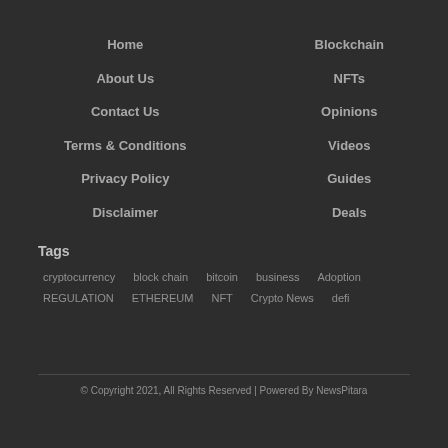Home
About Us
Contact Us
Terms & Conditions
Privacy Policy
Disclaimer
Blockchain
NFTs
Opinions
Videos
Guides
Deals
Tags
cryptocurrency   block chain   bitcoin   business   Adoption   REGULATION   ETHEREUM   NFT   Crypto News   defi
© Copyright 2021, All Rights Reserved | Powered By NewsPitara